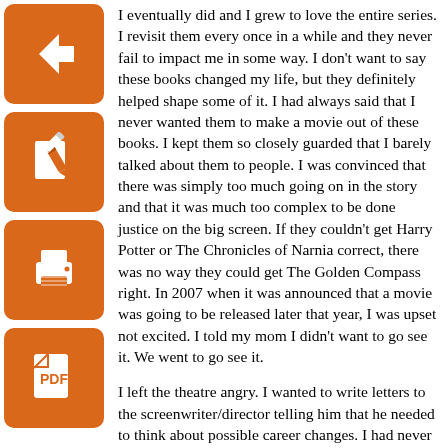I eventually did and I grew to love the entire series. I revisit them every once in a while and they never fail to impact me in some way. I don't want to say these books changed my life, but they definitely helped shape some of it. I had always said that I never wanted them to make a movie out of these books. I kept them so closely guarded that I barely talked about them to people. I was convinced that there was simply too much going on in the story and that it was much too complex to be done justice on the big screen. If they couldn't get Harry Potter or The Chronicles of Narnia correct, there was no way they could get The Golden Compass right. In 2007 when it was announced that a movie was going to be released later that year, I was upset not excited. I told my mom I didn't want to go see it. We went to go see it.
I left the theatre angry. I wanted to write letters to the screenwriter/director telling him that he needed to think about possible career changes. I had never been that disappointed in my entire life. It didn't make sense to me, the cast was good, filled with big name actors like Daniel Craig and Nicole Kidman and Ian McKellen. The director has directed About A Boy, and that wasn't awful. So why was this movie so terrible? I don't really have an answer to that question, it just was.
Fantasy movies are hard. They take place in a world that may basically be as our own, or they can be distinct and different. Most importantly...